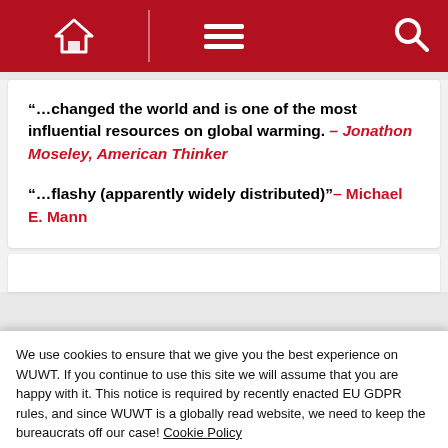WUWT website header with home, menu, and search icons
“…changed the world and is one of the most influential resources on global warming. – Jonathon Moseley, American Thinker
“…flashy (apparently widely distributed)”– Michael E. Mann
We use cookies to ensure that we give you the best experience on WUWT. If you continue to use this site we will assume that you are happy with it. This notice is required by recently enacted EU GDPR rules, and since WUWT is a globally read website, we need to keep the bureaucrats off our case! Cookie Policy
Close and accept